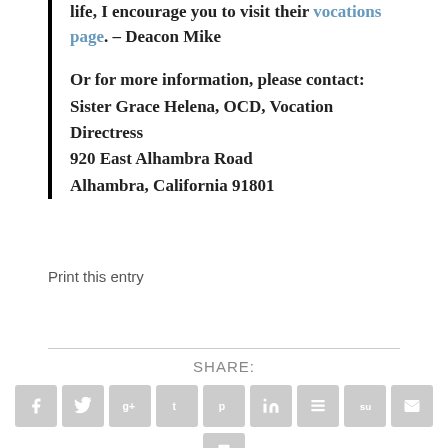life, I encourage you to visit their vocations page. – Deacon Mike
Or for more information, please contact: Sister Grace Helena, OCD, Vocation Directress
920 East Alhambra Road
Alhambra, California 91801
Print this entry
SHARE: